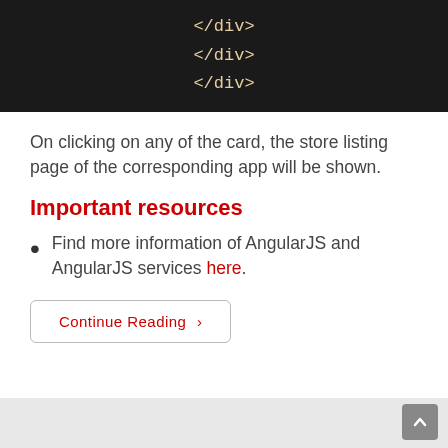[Figure (screenshot): Dark code block showing three closing HTML div tags: </div>, </div>, </div> in monospace font on black background]
On clicking on any of the card, the store listing page of the corresponding app will be shown.
Important resources
Find more information of AngularJS and AngularJS services here.
Continue Reading >